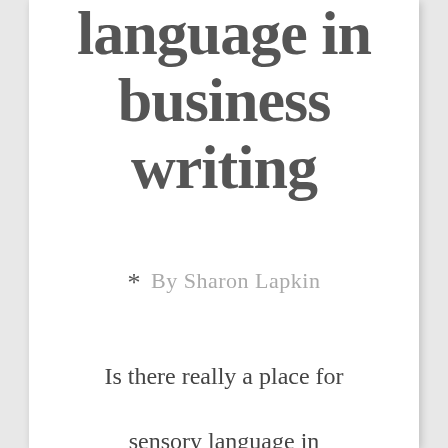language in business writing
* By Sharon Lapkin
Is there really a place for sensory language in